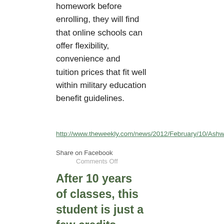homework before enrolling, they will find that online schools can offer flexibility, convenience and tuition prices that fit well within military education benefit guidelines.
http://www.theweekly.com/news/2012/February/10/Ashworth.html
Share on Facebook
Comments Off
After 10 years of classes, this student is just a few credits from a bachelor's degree via